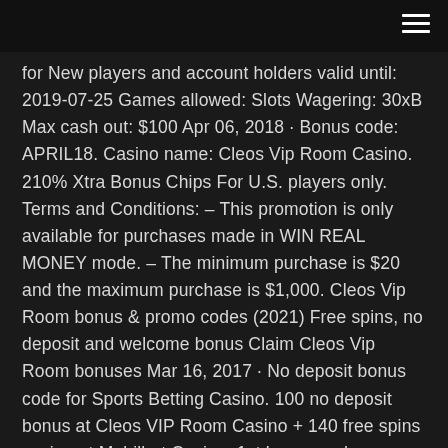for New players and account holders valid until: 2019-07-25 Games allowed: Slots Wagering: 30xB Max cash out: $100 Apr 06, 2018 · Bonus code: APRIL18. Casino name: Cleos Vip Room Casino. 210% Xtra Bonus Chips For U.S. players only. Terms and Conditions: – This promotion is only available for purchases made in WIN REAL MONEY mode. – The minimum purchase is $20 and the maximum purchase is $1,000. Cleos Vip Room bonus & promo codes (2021) Free spins, no deposit and welcome bonus Claim Cleos Vip Room bonuses Mar 16, 2017 · No deposit bonus code for Sports Betting Casino. 100 no deposit bonus at Cleos VIP Room Casino + 140 free spins casino at Mobilbet Casino. 1st bonus code: 7ZKBSAHJ on desktop. 2st bonus code: MOBLAT2SU8L on mobile. Players from Saint Lucia